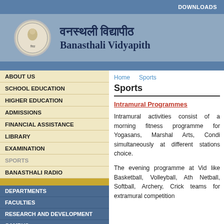DOWNLOADS
वनस्थली विद्यापीठ Banasthali Vidyapith
ABOUT US
SCHOOL EDUCATION
HIGHER EDUCATION
ADMISSIONS
FINANCIAL ASSISTANCE
LIBRARY
EXAMINATION
SPORTS
BANASTHALI RADIO
DEPARTMENTS
FACULTIES
RESEARCH AND DEVELOPMENT
CAMPUS
NAAC ACCREDITATION
HOW TO REACH BANASTHALI
CONTACT US
RECRUITMENTS
Home  Sports
Sports
Intramural Programmes
Intramural activities consist of a morning fitness programme for Yogasans, Marshal Arts, Condi simultaneously at different stations choice.
The evening programme at Vid like Basketball, Volleyball, Ath Netball, Softball, Archery, Crick teams for extramural competition